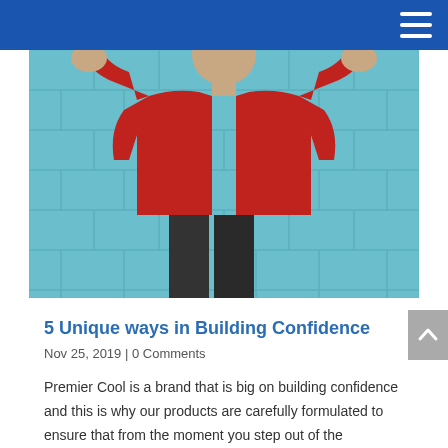[Figure (photo): Man in red sweater with fists raised in a confident pose, standing against a blue brick wall background]
5 Unique ways in Building Confidence
Nov 25, 2019 | 0 Comments
Premier Cool is a brand that is big on building confidence and this is why our products are carefully formulated to ensure that from the moment you step out of the bathroom to prepare for your due, your confidence is already boosted. Building confidence is a